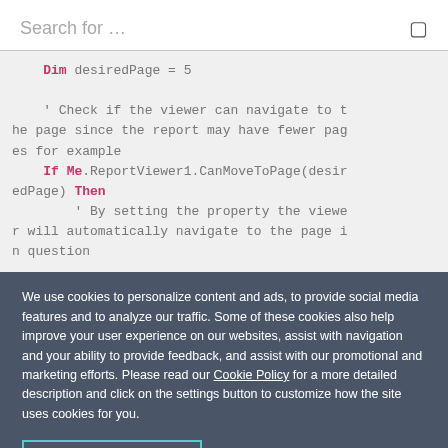Search for …
[Figure (screenshot): Code snippet showing VB.NET code: Dim desiredPage = 5, comment about checking if viewer can navigate to the page, If Me.ReportViewer1.CanMoveToPage(desiredPage) Then, comment about setting property to navigate to page]
We use cookies to personalize content and ads, to provide social media features and to analyze our traffic. Some of these cookies also help improve your user experience on our websites, assist with navigation and your ability to provide feedback, and assist with our promotional and marketing efforts. Please read our Cookie Policy for a more detailed description and click on the settings button to customize how the site uses cookies for you.
ACCEPT COOKIES   COOKIES SETTINGS